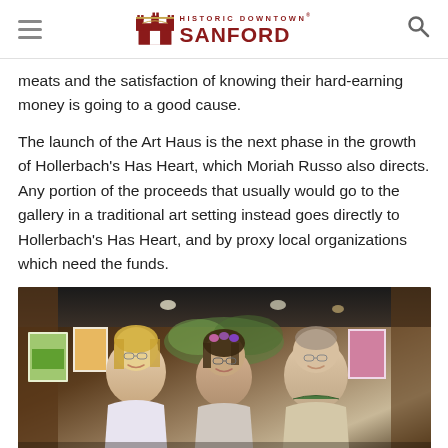HISTORIC DOWNTOWN® SANFORD
meats and the satisfaction of knowing their hard-earning money is going to a good cause.
The launch of the Art Haus is the next phase in the growth of Hollerbach's Has Heart, which Moriah Russo also directs. Any portion of the proceeds that usually would go to the gallery in a traditional art setting instead goes directly to Hollerbach's Has Heart, and by proxy local organizations which need the funds.
[Figure (photo): Three people posing together and smiling inside what appears to be a restaurant or gallery setting with colorful artwork and warm lighting in the background.]